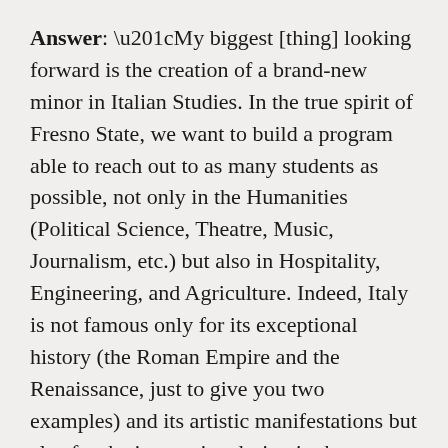Answer: “My biggest [thing] looking forward is the creation of a brand-new minor in Italian Studies. In the true spirit of Fresno State, we want to build a program able to reach out to as many students as possible, not only in the Humanities (Political Science, Theatre, Music, Journalism, etc.) but also in Hospitality, Engineering, and Agriculture. Indeed, Italy is not famous only for its exceptional history (the Roman Empire and the Renaissance, just to give you two examples) and its artistic manifestations but also for the innovative design in the automobile sector and in fashion, the successful winemaking production that merges together tradition and innovation, and its food culture promoting healthy food habits and an “education of taste” Italian people learn from their childhood.
“I want to bring all these experiences to Fresno State,